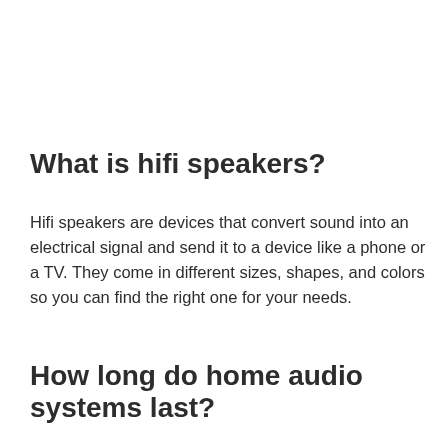What is hifi speakers?
Hifi speakers are devices that convert sound into an electrical signal and send it to a device like a phone or a TV. They come in different sizes, shapes, and colors so you can find the right one for your needs.
How long do home audio systems last?